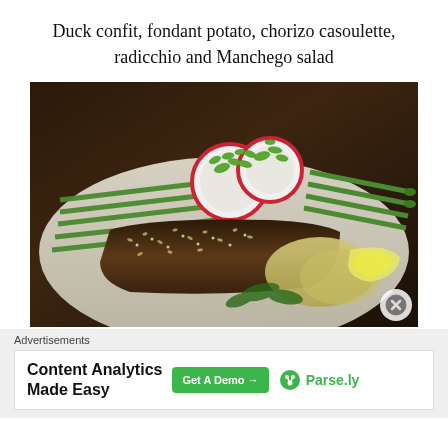Duck confit, fondant potato, chorizo casoulette, radicchio and Manchego salad
[Figure (photo): A plated dish of duck confit with fondant potato, asparagus, radish slices topped with micro greens, and herbs on a white plate]
Advertisements
[Figure (infographic): Advertisement banner: Content Analytics Made Easy - Get A Demo button - Parse.ly logo]